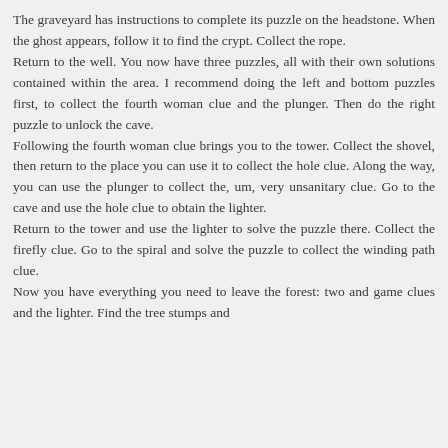The graveyard has instructions to complete its puzzle on the headstone. When the ghost appears, follow it to find the crypt. Collect the rope.
Return to the well. You now have three puzzles, all with their own solutions contained within the area. I recommend doing the left and bottom puzzles first, to collect the fourth woman clue and the plunger. Then do the right puzzle to unlock the cave.
Following the fourth woman clue brings you to the tower. Collect the shovel, then return to the place you can use it to collect the hole clue. Along the way, you can use the plunger to collect the, um, very unsanitary clue. Go to the cave and use the hole clue to obtain the lighter.
Return to the tower and use the lighter to solve the puzzle there. Collect the firefly clue. Go to the spiral and solve the puzzle to collect the winding path clue.
Now you have everything you need to leave the forest: two and game clues and the lighter. Find the tree stumps and